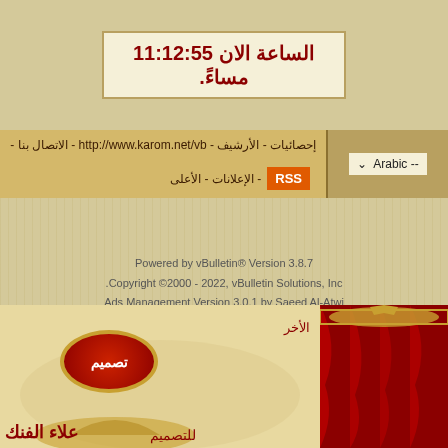الساعة الان 11:12:55 مساءً.
إحصائيات - الأرشيف - http://www.karom.net/vb - الاتصال بنا - RSS - الإعلانات - الأعلى
Arabic --
Powered by vBulletin® Version 3.8.7
.Copyright ©2000 - 2022, vBulletin Solutions, Inc
Ads Management Version 3.0.1 by Saeed Al-Atwi
HêL'm √ 3.1 BY: ! ωσηαm ! © 2010
[Figure (logo): ad-i.s.s.w logo/badge with colored letters]
[Figure (illustration): Bottom decorative banner with Arabic calligraphy text, red curtains on right, golden ornaments, red circular badge with Arabic text 'تصميم', Arabic text 'علاء الفنك' and 'للتصميم']